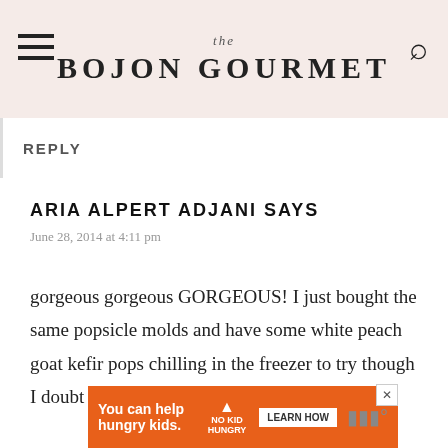the BOJON GOURMET
REPLY
ARIA ALPERT ADJANI SAYS
June 28, 2014 at 4:11 pm
gorgeous gorgeous GORGEOUS! I just bought the same popsicle molds and have some white peach goat kefir pops chilling in the freezer to try though I doubt they will look as beautiful as y
[Figure (infographic): Advertisement banner: orange background with text 'You can help hungry kids.' with No Kid Hungry logo and 'LEARN HOW' button]